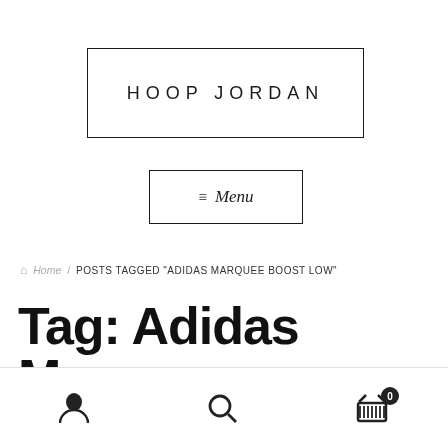HOOP JORDAN
≡ Menu
Home · POSTS TAGGED "ADIDAS MARQUEE BOOST LOW"
Tag: Adidas Marquee